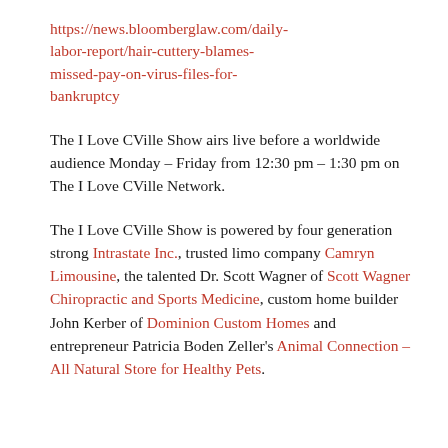https://news.bloomberglaw.com/daily-labor-report/hair-cuttery-blames-missed-pay-on-virus-files-for-bankruptcy
The I Love CVille Show airs live before a worldwide audience Monday – Friday from 12:30 pm – 1:30 pm on The I Love CVille Network.
The I Love CVille Show is powered by four generation strong Intrastate Inc., trusted limo company Camryn Limousine, the talented Dr. Scott Wagner of Scott Wagner Chiropractic and Sports Medicine, custom home builder John Kerber of Dominion Custom Homes and entrepreneur Patricia Boden Zeller's Animal Connection – All Natural Store for Healthy Pets.